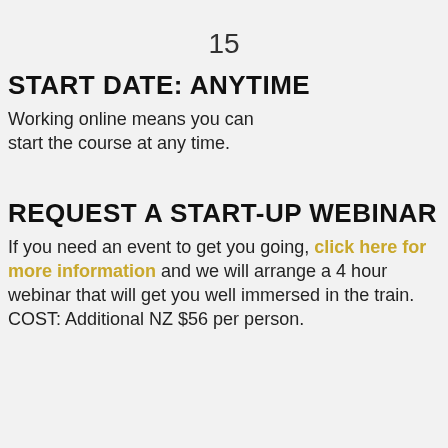15
START DATE: ANYTIME
Working online means you can start the course at any time.
REQUEST A START-UP WEBINAR
If you need an event to get you going, click here for more information and we will arrange a 4 hour webinar that will get you well immersed in the train. COST: Additional NZ  $56  per person.